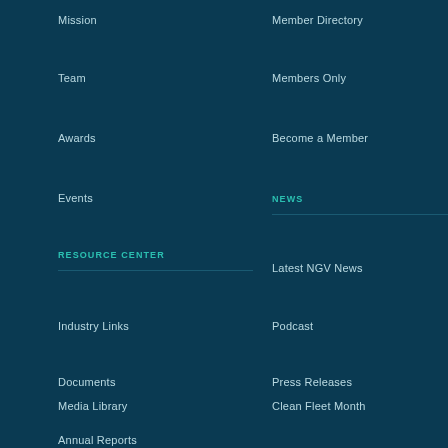Mission
Member Directory
Team
Members Only
Awards
Become a Member
Events
NEWS
RESOURCE CENTER
Latest NGV News
Industry Links
Podcast
Documents
Press Releases
Media Library
Clean Fleet Month
Annual Reports